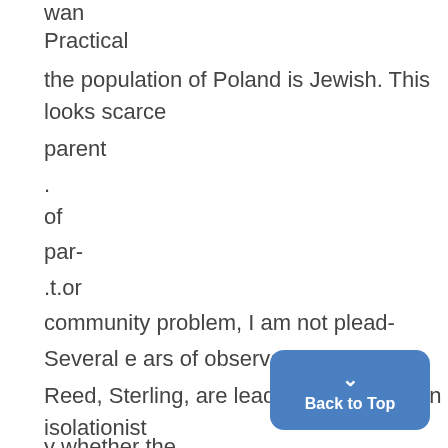wan
Practical
the population of Poland is Jewish. This looks scarce
parent
.
of
par-
.t.or
community problem, I am not plead-
Several e ars of observation
Reed, Sterling, are leading the way to an isolationist
y whether the